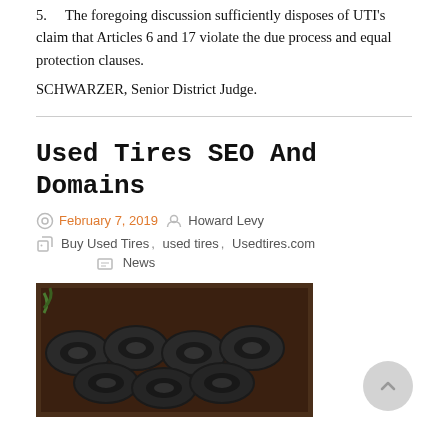5. The foregoing discussion sufficiently disposes of UTI's claim that Articles 6 and 17 violate the due process and equal protection clauses.
SCHWARZER, Senior District Judge.
Used Tires SEO And Domains
February 7, 2019  Howard Levy
Buy Used Tires, used tires, Usedtires.com  News
[Figure (photo): Photo of multiple used tires stacked in a wooden crate, viewed from above, showing tires interlocked in a dark container.]